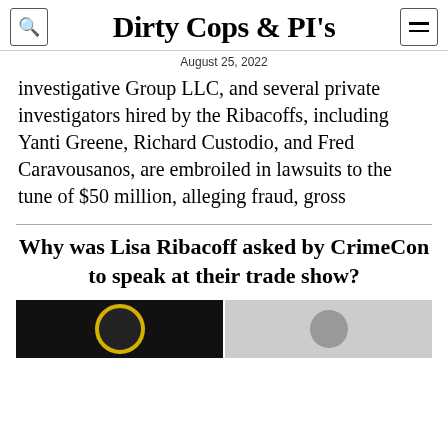Dirty Cops & PI's
August 25, 2022
investigative Group LLC, and several private investigators hired by the Ribacoffs, including Yanti Greene, Richard Custodio, and Fred Caravousanos, are embroiled in lawsuits to the tune of $50 million, alleging fraud, gross negligence, and aiding and abetting rapes and sexual assaults, among other causes of actions.
Why was Lisa Ribacoff asked by CrimeCon to speak at their trade show?
[Figure (photo): Two side-by-side photos: left shows a person with a yellow circular element on dark background, right shows a person's face on gray background.]